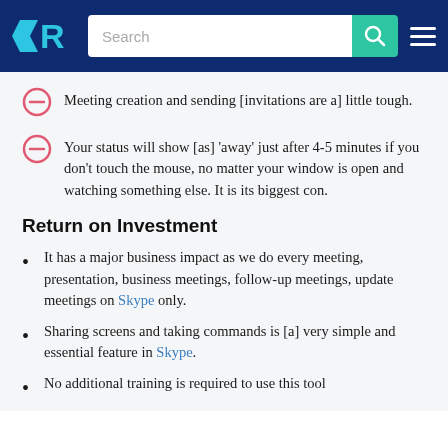TrustRadius — Search navigation bar
Meeting creation and sending [invitations are a] little tough.
Your status will show [as] 'away' just after 4-5 minutes if you don't touch the mouse, no matter your window is open and watching something else. It is its biggest con.
Return on Investment
It has a major business impact as we do every meeting, presentation, business meetings, follow-up meetings, update meetings on Skype only.
Sharing screens and taking commands is [a] very simple and essential feature in Skype.
No additional training is required to use this tool